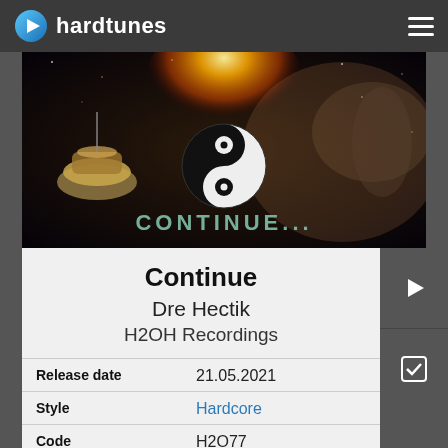hardtunes
[Figure (photo): Album art for 'Continue' by Dre Hectik on H2OH Recordings, featuring a dark cosmic scene with a yin-yang symbol and the text CONTINUE...]
Continue
Dre Hectik
H2OH Recordings
| Field | Value |
| --- | --- |
| Release date | 21.05.2021 |
| Style | Hardcore |
| Code | H2O77 |
| Length | 17:20 (3 Tunes) |